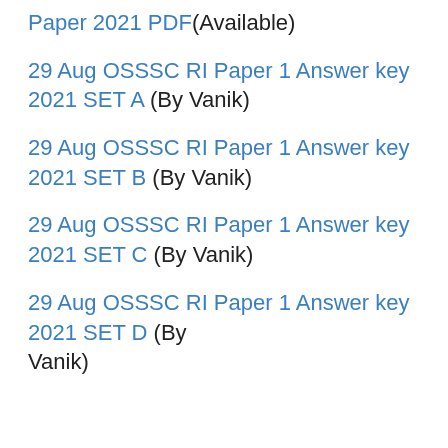Paper 2021 PDF(Available)
29 Aug OSSSC RI Paper 1 Answer key 2021 SET A (By Vanik)
29 Aug OSSSC RI Paper 1 Answer key 2021 SET B (By Vanik)
29 Aug OSSSC RI Paper 1 Answer key 2021 SET C (By Vanik)
29 Aug OSSSC RI Paper 1 Answer key 2021 SET D (By Vanik)